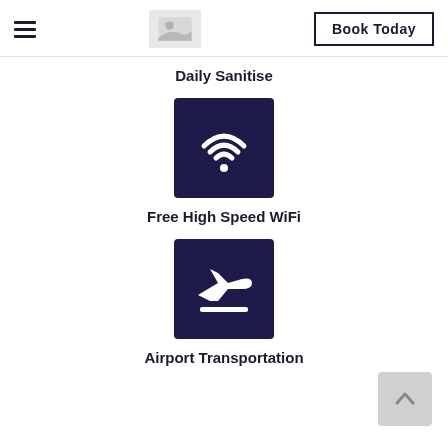[Figure (logo): Hamburger menu icon (three horizontal lines) on the left of the header]
[Figure (logo): Hotel/property logo placeholder image in center of header]
[Figure (other): Book Today button with bold text and black border on the right of header]
Daily Sanitise
[Figure (illustration): Dark navy square icon with white WiFi symbol]
Free High Speed WiFi
[Figure (illustration): Dark navy square icon with white airplane/departure symbol and horizontal line]
Airport Transportation